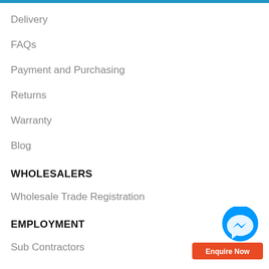Delivery
FAQs
Payment and Purchasing
Returns
Warranty
Blog
WHOLESALERS
Wholesale Trade Registration
EMPLOYMENT
Sub Contractors
AIR CONDITIONING
[Figure (illustration): Facebook Messenger chat bubble icon (blue circle with white lightning bolt/chat icon) floating action button, with an orange 'Enquire Now' button below it]